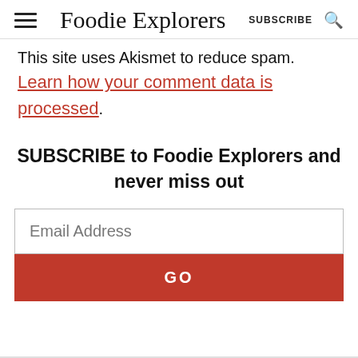Foodie Explorers | SUBSCRIBE
This site uses Akismet to reduce spam. Learn how your comment data is processed.
SUBSCRIBE to Foodie Explorers and never miss out
Email Address
GO